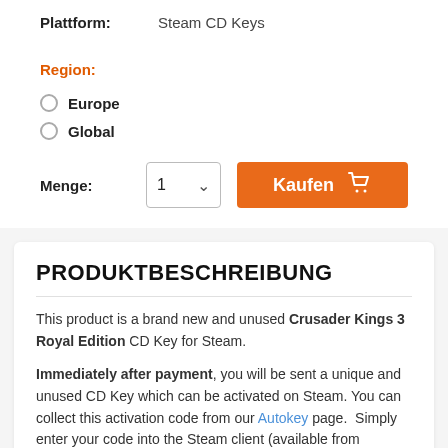Plattform: Steam CD Keys
Region:
Europe
Global
Menge: 1  Kaufen
PRODUKTBESCHREIBUNG
This product is a brand new and unused Crusader Kings 3 Royal Edition CD Key for Steam.
Immediately after payment, you will be sent a unique and unused CD Key which can be activated on Steam. You can collect this activation code from our Autokey page. Simply enter your code into the Steam client (available from steampowered.com). This will th